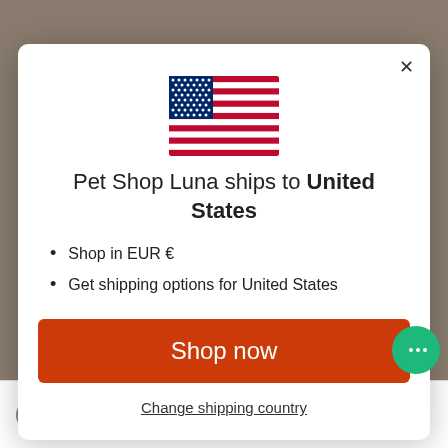[Figure (illustration): US flag icon centered at top of modal]
Pet Shop Luna ships to United States
Shop in EUR €
Get shipping options for United States
Shop now
Change shipping country
SHIPPING Ships to United St... business days